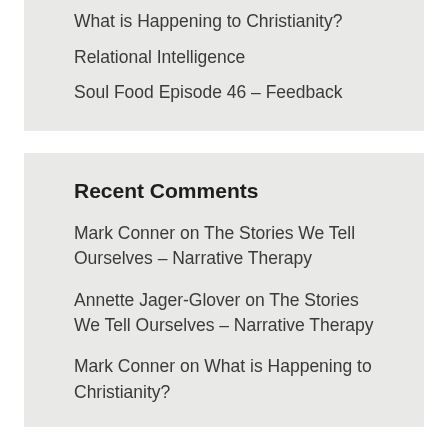What is Happening to Christianity?
Relational Intelligence
Soul Food Episode 46 – Feedback
Recent Comments
Mark Conner on The Stories We Tell Ourselves – Narrative Therapy
Annette Jager-Glover on The Stories We Tell Ourselves – Narrative Therapy
Mark Conner on What is Happening to Christianity?